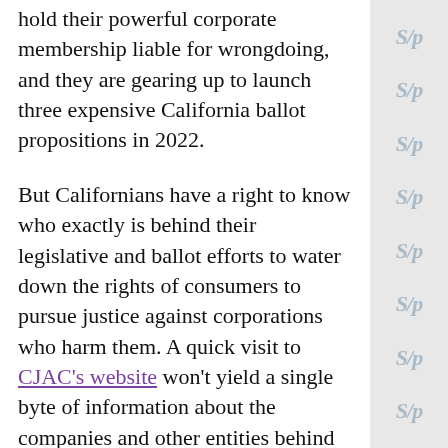hold their powerful corporate membership liable for wrongdoing, and they are gearing up to launch three expensive California ballot propositions in 2022.
But Californians have a right to know who exactly is behind their legislative and ballot efforts to water down the rights of consumers to pursue justice against corporations who harm them. A quick visit to CJAC's website won't yield a single byte of information about the companies and other entities behind CJAC. We were thrilled, however, to see the efforts of the Consumer